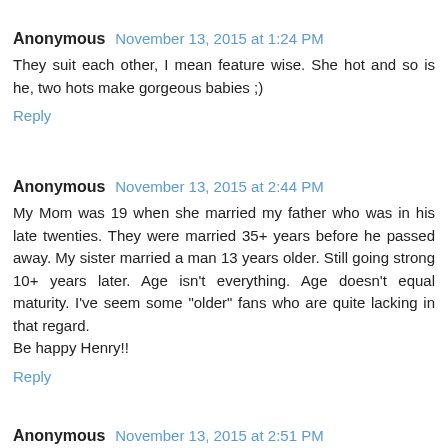Anonymous  November 13, 2015 at 1:24 PM
They suit each other, I mean feature wise. She hot and so is he, two hots make gorgeous babies ;)
Reply
Anonymous  November 13, 2015 at 2:44 PM
My Mom was 19 when she married my father who was in his late twenties. They were married 35+ years before he passed away. My sister married a man 13 years older. Still going strong 10+ years later. Age isn't everything. Age doesn't equal maturity. I've seem some "older" fans who are quite lacking in that regard.
Be happy Henry!!
Reply
Anonymous  November 13, 2015 at 2:51 PM